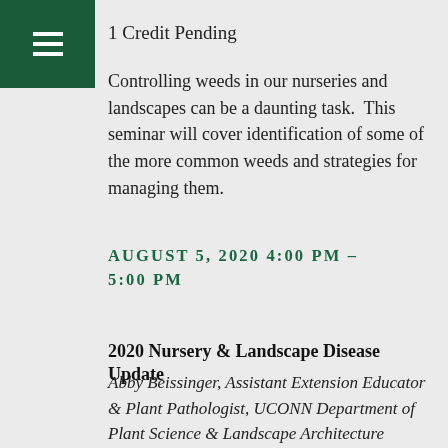1 Credit Pending
Controlling weeds in our nurseries and landscapes can be a daunting task.  This seminar will cover identification of some of the more common weeds and strategies for managing them.
AUGUST 5, 2020 4:00 PM – 5:00 PM
2020 Nursery & Landscape Disease Update
Abby Beissinger, Assistant Extension Educator & Plant Pathologist, UCONN Department of Plant Science & Landscape Architecture
1 Credit Pending
An overview of the common diseases found in 2020 of ornamental plants in